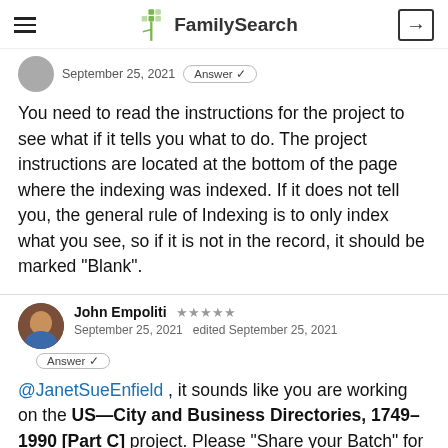FamilySearch
September 25, 2021  Answer ✓
You need to read the instructions for the project to see what if it tells you what to do. The project instructions are located at the bottom of the page where the indexing was indexed. If it does not tell you, the general rule of Indexing is to only index what you see, so if it is not in the record, it should be marked "Blank".
John Empoliti ★★★★★
September 25, 2021  edited September 25, 2021
Answer ✓
@JanetSueEnfield , it sounds like you are working on the US—City and Business Directories, 1749–1990 [Part C] project. Please "Share your Batch" for the